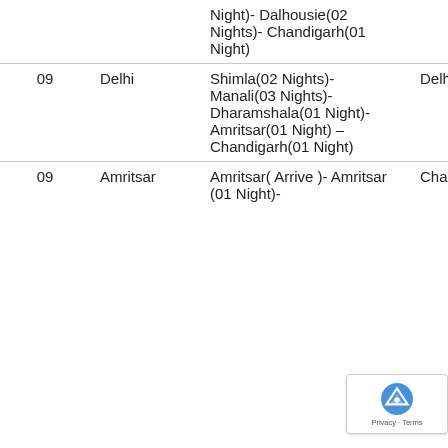| Nights | From | Route | To |
| --- | --- | --- | --- |
|  |  | Night)- Dalhousie(02 Nights)- Chandigarh(01 Night) |  |
| 09 | Delhi | Shimla(02 Nights)- Manali(03 Nights)- Dharamshala(01 Night)- Amritsar(01 Night) – Chandigarh(01 Night) | Delhi |
| 09 | Amritsar | Amritsar( Arrive )- Amritsar (01 Night)- | Chandigarh |